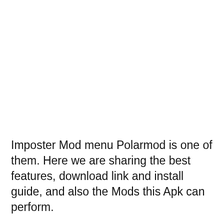Imposter Mod menu Polarmod is one of them. Here we are sharing the best features, download link and install guide, and also the Mods this Apk can perform.